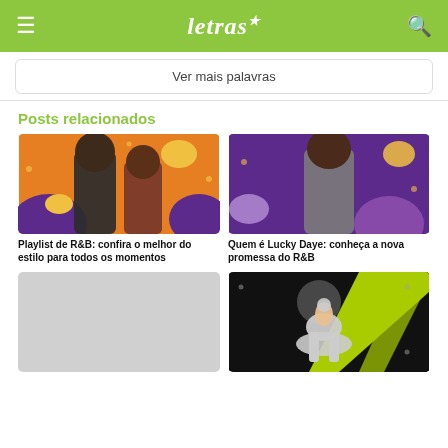letras
Ver mais palavras
Posts relacionados
[Figure (photo): Two artists on orange and purple background - R&B playlist image]
Playlist de R&B: confira o melhor do estilo para todos os momentos
[Figure (photo): Young man on purple background - Lucky Daye photo]
Quem é Lucky Daye: conheça a nova promessa do R&B
[Figure (photo): Gray placeholder image]
[Figure (photo): Person on horse with green and black background]